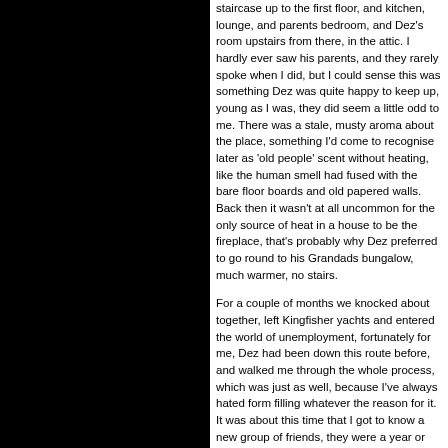staircase up to the first floor, and kitchen, lounge, and parents bedroom, and Dez's room upstairs from there, in the attic. I hardly ever saw his parents, and they rarely spoke when I did, but I could sense this was something Dez was quite happy to keep up, young as I was, they did seem a little odd to me. There was a stale, musty aroma about the place, something I'd come to recognise later as 'old people' scent without heating, like the human smell had fused with the bare floor boards and old papered walls. Back then it wasn't at all uncommon for the only source of heat in a house to be the fireplace, that's probably why Dez preferred to go round to his Grandads bungalow, much warmer, no stairs.
For a couple of months we knocked about together, left Kingfisher yachts and entered the world of unemployment, fortunately for me, Dez had been down this route before, and walked me through the whole process, which was just as well, because I've always hated form filling whatever the reason for it. It was about this time that I got to know a new group of friends, they were a year or two younger than me, Dez began dating one of them. Me being in the Dez and his...